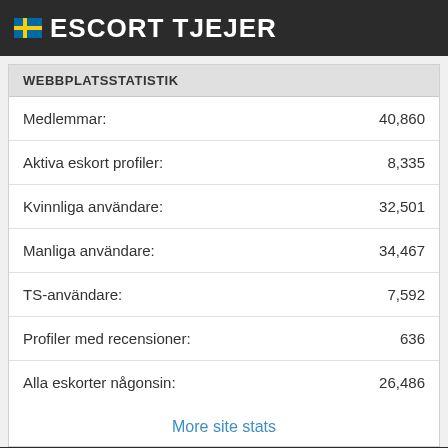ESCORT TJEJER
WEBBPLATSSTATISTIK
|  |  |
| --- | --- |
| Medlemmar: | 40,860 |
| Aktiva eskort profiler: | 8,335 |
| Kvinnliga användare: | 32,501 |
| Manliga användare: | 34,467 |
| TS-användare: | 7,592 |
| Profiler med recensioner: | 636 |
| Alla eskorter någonsin: | 26,486 |
More site stats
Eskorts i Sverige   Hjalp